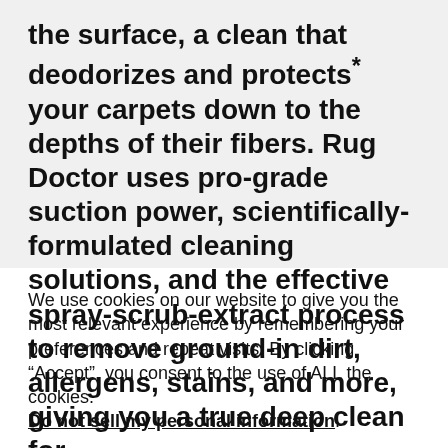the surface, a clean that deodorizes and protects* your carpets down to the depths of their fibers. Rug Doctor uses pro-grade suction power, scientifically-formulated cleaning solutions, and the effective spray-scrub-extract process to remove ground-in dirt, allergens, stains, and more, giving you a true deep clean for
We use cookies on our website to give you the most relevant experience by remembering your preferences and repeat visits. By clicking “Accept”, you consent to the use of ALL the cookies. Do not sell my personal information.